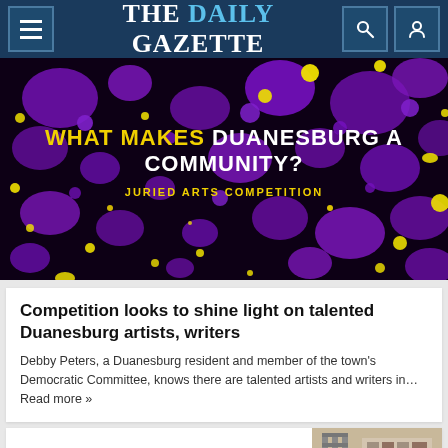THE DAILY GAZETTE
[Figure (illustration): Dark background with purple and yellow paint splatters. Text overlay: 'WHAT MAKES DUANESBURG A COMMUNITY? JURIED ARTS COMPETITION']
Competition looks to shine light on talented Duanesburg artists, writers
Debby Peters, a Duanesburg resident and member of the town's Democratic Committee, knows there are talented artists and writers in... Read more »
[Figure (photo): Bottom strip showing partial images of what appears to be an interior space on the right side]